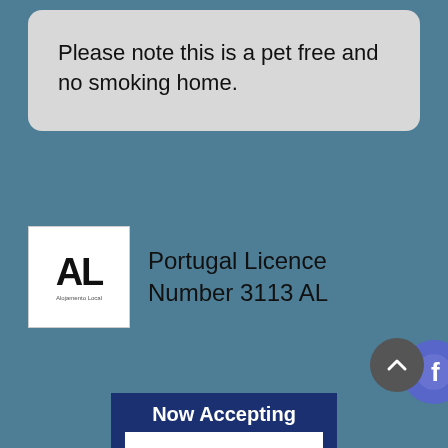Please note this is a pet free and no smoking home.
[Figure (logo): AL logo badge — white square with large bold 'AL' letters and small text below, representing Alojamento Local Portugal licence badge]
Portugal Licence Number 3113 AL
[Figure (logo): Facebook circular button icon (purple/blue circle with white 'f' logo)]
[Figure (other): Scroll-to-top button — dark grey circle with white upward chevron arrow]
Now Accepting